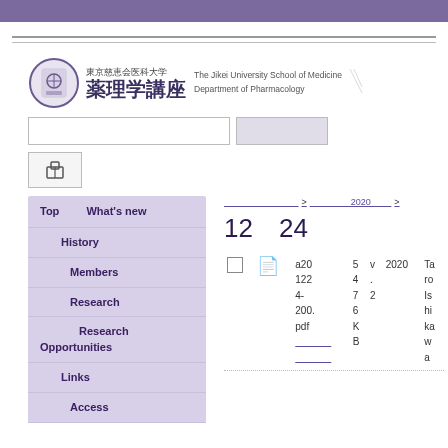Purple header bar
[Figure (logo): Jikei University School of Medicine Department of Pharmacology logo with shield emblem, Japanese text 東京慈恵会医科大学 薬理学講座 and English text The Jikei University School of Medicine Department of Pharmacology]
Search input and button with menu icon button
Top　　　　 What's new
History
Members
Research
Research Opportunities
Links
Access
>  　　　　 2020　　 >
12　24
a20
1224-
200.
pdf
　　　　
5
4.
7
6
K
B
v
.
2
2020
Taro
Ishi
ka
wa